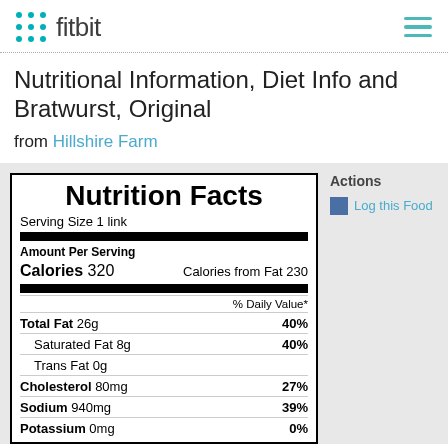fitbit
Nutritional Information, Diet Info and Bratwurst, Original from Hillshire Farm
| Nutrient | Amount | % Daily Value |
| --- | --- | --- |
| Serving Size | 1 link |  |
| Calories | 320 |  |
| Calories from Fat | 230 |  |
| Total Fat | 26g | 40% |
| Saturated Fat | 8g | 40% |
| Trans Fat | 0g |  |
| Cholesterol | 80mg | 27% |
| Sodium | 940mg | 39% |
| Potassium | 0mg | 0% |